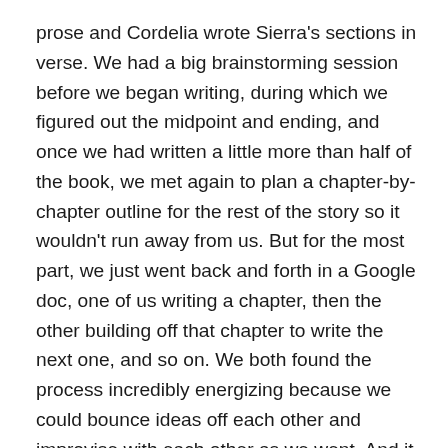prose and Cordelia wrote Sierra's sections in verse. We had a big brainstorming session before we began writing, during which we figured out the midpoint and ending, and once we had written a little more than half of the book, we met again to plan a chapter-by-chapter outline for the rest of the story so it wouldn't run away from us. But for the most part, we just went back and forth in a Google doc, one of us writing a chapter, then the other building off that chapter to write the next one, and so on. We both found the process incredibly energizing because we could bounce ideas off each other and improvise with each other as we went. And it was pretty great to get immediate feedback on the sections we wrote so we knew right away what was working and what wasn't. And we gave each other lots of compliments as we went, which was also very fun and validating!